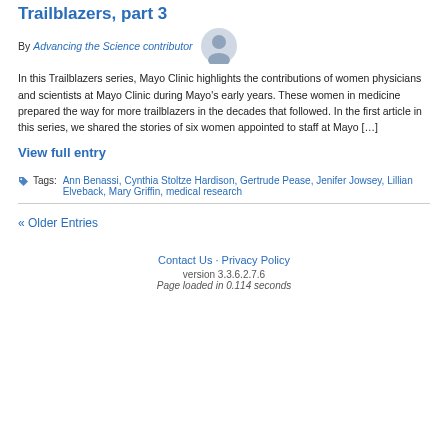Trailblazers, part 3
By Advancing the Science contributor
In this Trailblazers series, Mayo Clinic highlights the contributions of women physicians and scientists at Mayo Clinic during Mayo's early years. These women in medicine prepared the way for more trailblazers in the decades that followed. In the first article in this series, we shared the stories of six women appointed to staff at Mayo […]
View full entry
Tags: Ann Benassi, Cynthia Stoltze Hardison, Gertrude Pease, Jenifer Jowsey, Lillian Elveback, Mary Griffin, medical research
« Older Entries
Contact Us · Privacy Policy
version 3.3.6.2.7.6
Page loaded in 0.114 seconds